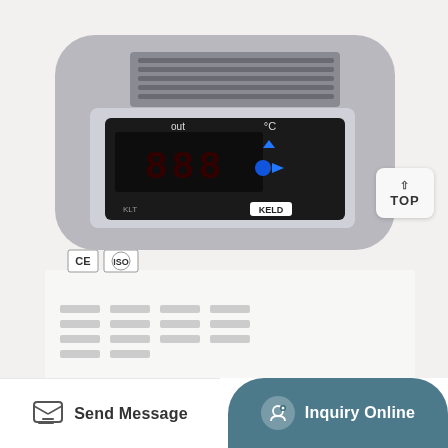[Figure (photo): Close-up photo of a medical/laboratory freezer control panel. The panel has a rounded gray/silver bezel with ventilation grilles at the top. A black digital display unit (branded KELD) shows temperature readout with 'out' and '°C' labels and blue LED indicator buttons. CE and ISO certification logos are visible in the lower left. A white 'TOP' button/label with an up arrow is on the right side.]
Send Message
Inquiry Online